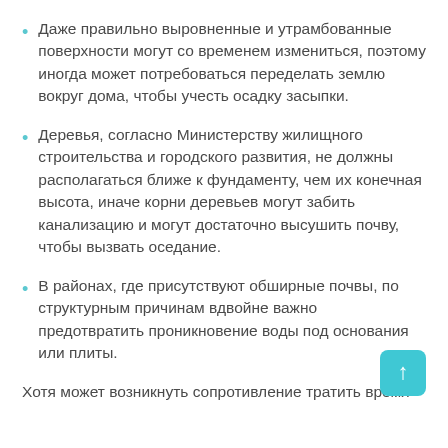Даже правильно выровненные и утрамбованные поверхности могут со временем измениться, поэтому иногда может потребоваться переделать землю вокруг дома, чтобы учесть осадку засыпки.
Деревья, согласно Министерству жилищного строительства и городского развития, не должны располагаться ближе к фундаменту, чем их конечная высота, иначе корни деревьев могут забить канализацию и могут достаточно высушить почву, чтобы вызвать оседание.
В районах, где присутствуют обширные почвы, по структурным причинам вдвойне важно предотвратить проникновение воды под основания или плиты.
Хотя может возникнуть сопротивление тратить время